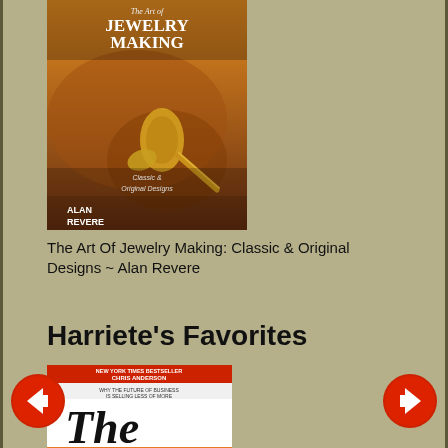[Figure (photo): Book cover of 'The Art of Jewelry Making: Classic & Original Designs' by Alan Revere. Orange/golden background with jewelry tools.]
The Art Of Jewelry Making: Classic & Original Designs ~ Alan Revere
Harriete's Favorites
[Figure (photo): Book cover of 'The Long Tail' by Chris Anderson. Black and white cover with orange band, subtitle: 'Why the Future of Business is Selling Less of More'. New York Times Bestseller.]
[Figure (other): Left navigation arrow button (red circle with white left arrow)]
[Figure (other): Right navigation arrow button (red circle with white right arrow)]